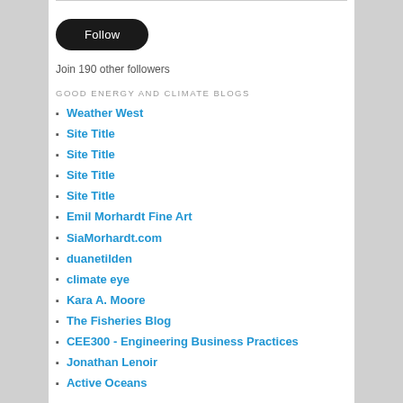[Figure (other): Follow button - dark rounded pill button with white text 'Follow']
Join 190 other followers
GOOD ENERGY AND CLIMATE BLOGS
Weather West
Site Title
Site Title
Site Title
Site Title
Emil Morhardt Fine Art
SiaMorhardt.com
duanetilden
climate eye
Kara A. Moore
The Fisheries Blog
CEE300 - Engineering Business Practices
Jonathan Lenoir
Active Oceans